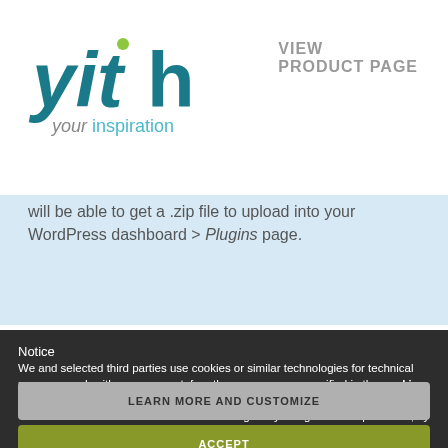[Figure (logo): YITH logo with 'your inspiration' tagline in teal/green colors]
VIEW
PRODUCT PAGE
will be able to get a .zip file to upload into your WordPress dashboard > Plugins page.
Notice
We and selected third parties use cookies or similar technologies for technical purposes and, with your consent, for other purposes as specified in the cookie policy. Denying consent may make related features unavailable.
You can consent to the use of such technologies by using the “Accept” button, by closing this notice, by scrolling this page, by interacting with any link or button outside of this notice or by continuing to browse otherwise.
LEARN MORE AND CUSTOMIZE
ACCEPT